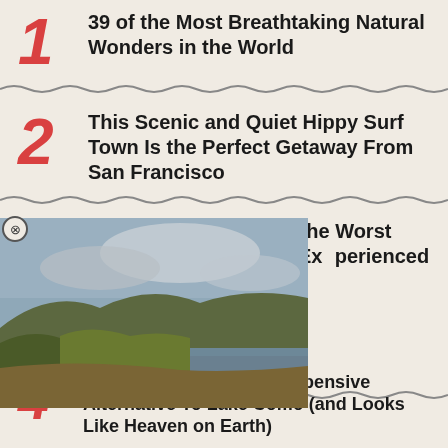1 — 39 of the Most Breathtaking Natural Wonders in the World
2 — This Scenic and Quiet Hippy Surf Town Is the Perfect Getaway From San Francisco
3 — Travelers Are Sharing the Worst Tourist Traps They've Experienced Around the World
[Figure (photo): Landscape photo of a lake with hills, trees, and a dramatic cloudy sky]
4 — [This Italian Lake] Is a Serene and Less Expensive Alternative To Lake Como (and Looks Like Heaven on Earth)
5 — 14 Laws From Other Countries That the...